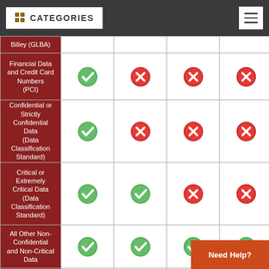CATEGORIES
| Category | Col1 | Col2 | Col3 | Col4 |
| --- | --- | --- | --- | --- |
| Billey (GLBA) |  |  |  |  |
| Financial Data and Credit Card Numbers (PCI) | ✓ | ✗ | ✗ | ✗ |
| Confidential or Strictly Confidential Data (Data Classification Standard) | ✓ | ✗ | ✗ | ✗ |
| Critical or Extremely Critical Data (Data Classification Standard) | ✓ | ✓ | ✗ | ✗ |
| All Other Non-Confidential and Non-Critical Data | ✓ | ✓ | ✓ | ✓ |
| Non-College/Personal | ⚠ 2 | ⚠ 2 | ⚠ |  |